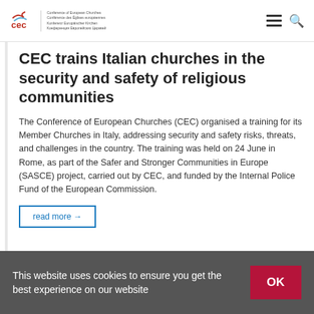CEC Conference of European Churches logo and navigation
CEC trains Italian churches in the security and safety of religious communities
The Conference of European Churches (CEC) organised a training for its Member Churches in Italy, addressing security and safety risks, threats, and challenges in the country. The training was held on 24 June in Rome, as part of the Safer and Stronger Communities in Europe (SASCE) project, carried out by CEC, and funded by the Internal Police Fund of the European Commission.
read more →
This website uses cookies to ensure you get the best experience on our website  OK